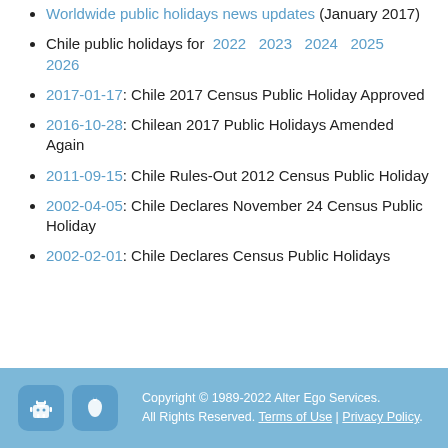Worldwide public holidays news updates (January 2017)
Chile public holidays for 2022 2023 2024 2025 2026
2017-01-17: Chile 2017 Census Public Holiday Approved
2016-10-28: Chilean 2017 Public Holidays Amended Again
2011-09-15: Chile Rules-Out 2012 Census Public Holiday
2002-04-05: Chile Declares November 24 Census Public Holiday
2002-02-01: Chile Declares Census Public Holidays
Copyright © 1989-2022 Alter Ego Services. All Rights Reserved. Terms of Use | Privacy Policy.